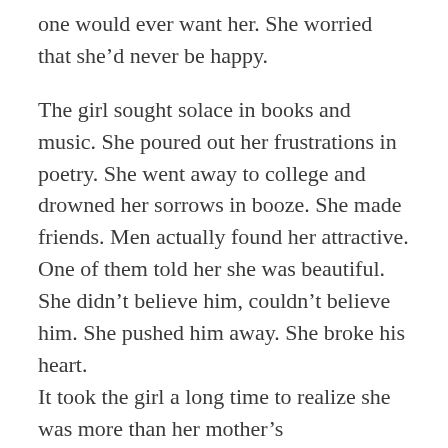one would ever want her. She worried that she'd never be happy.
The girl sought solace in books and music. She poured out her frustrations in poetry. She went away to college and drowned her sorrows in booze. She made friends. Men actually found her attractive. One of them told her she was beautiful. She didn't believe him, couldn't believe him. She pushed him away. She broke his heart.
It took the girl a long time to realize she was more than her mother's disappointment. Eventually, though, she understood. The girl's mother never wanted the girl to outshine her, to be smarter or prettier or more successful. She was only ever proud of the girl when she